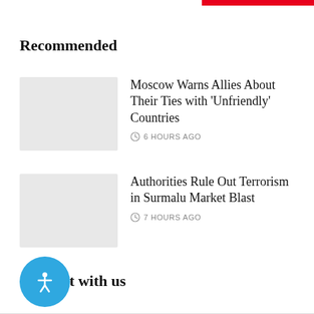Recommended
Moscow Warns Allies About Their Ties with ‘Unfriendly’ Countries
6 HOURS AGO
Authorities Rule Out Terrorism in Surmalu Market Blast
7 HOURS AGO
Connect with us
[Figure (illustration): Blue circular accessibility icon button with a white person/figure symbol in the center]